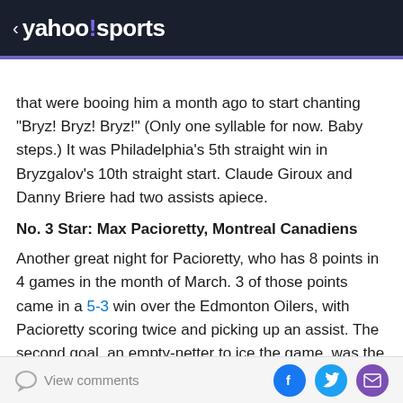< yahoo!sports
that were booing him a month ago to start chanting "Bryz! Bryz! Bryz!" (Only one syllable for now. Baby steps.) It was Philadelphia's 5th straight win in Bryzgalov's 10th straight start. Claude Giroux and Danny Briere had two assists apiece.
No. 3 Star: Max Pacioretty, Montreal Canadiens
Another great night for Pacioretty, who has 8 points in 4 games in the month of March. 3 of those points came in a 5-3 win over the Edmonton Oilers, with Pacioretty scoring twice and picking up an assist. The second goal, an empty-netter to ice the game, was the Habs' winger 's 30th of the season, the first time he's reached the
View comments